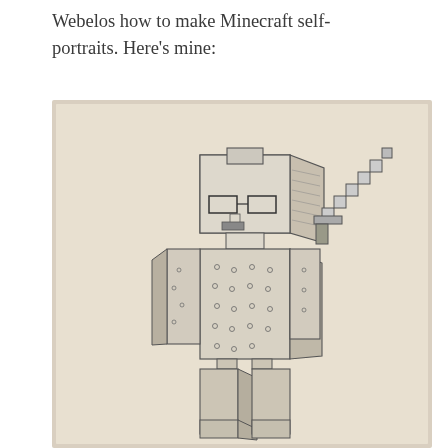Webelos how to make Minecraft self-portraits. Here's mine:
[Figure (illustration): A pencil sketch of a Minecraft-style character (Steve) wearing glasses, holding a pixelated sword in the right hand. The character has a blocky head with crosshatched hair, a body with dotted armor texture, blocky arms and legs, drawn on a beige/cream paper background.]